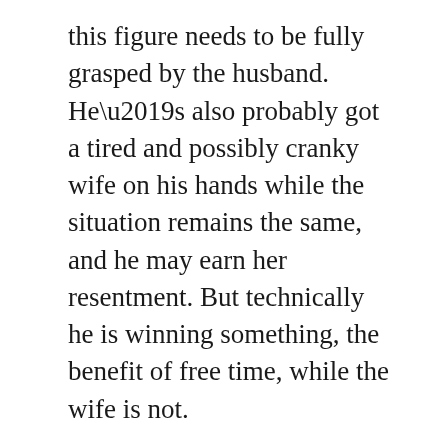this figure needs to be fully grasped by the husband. He’s also probably got a tired and possibly cranky wife on his hands while the situation remains the same, and he may earn her resentment. But technically he is winning something, the benefit of free time, while the wife is not.